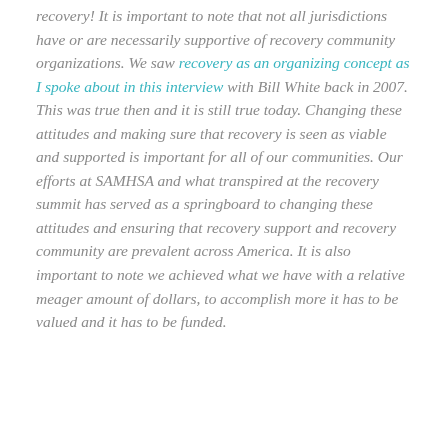recovery! It is important to note that not all jurisdictions have or are necessarily supportive of recovery community organizations. We saw recovery as an organizing concept as I spoke about in this interview with Bill White back in 2007. This was true then and it is still true today. Changing these attitudes and making sure that recovery is seen as viable and supported is important for all of our communities. Our efforts at SAMHSA and what transpired at the recovery summit has served as a springboard to changing these attitudes and ensuring that recovery support and recovery community are prevalent across America. It is also important to note we achieved what we have with a relative meager amount of dollars, to accomplish more it has to be valued and it has to be funded. To be clear, to be clear, To be clear The